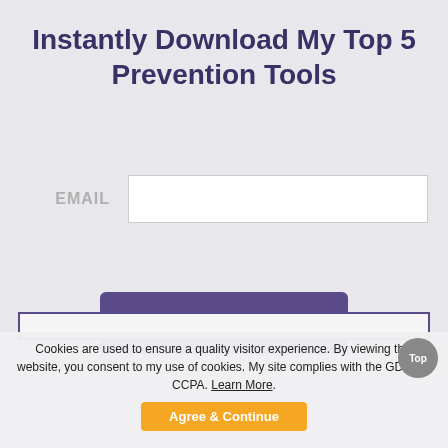Instantly Download My Top 5 Prevention Tools
EMAIL
JOIN NOW
Cookies are used to ensure a quality visitor experience. By viewing this website, you consent to my use of cookies. My site complies with the GDRP & CCPA. Learn More.
Agree & Continue